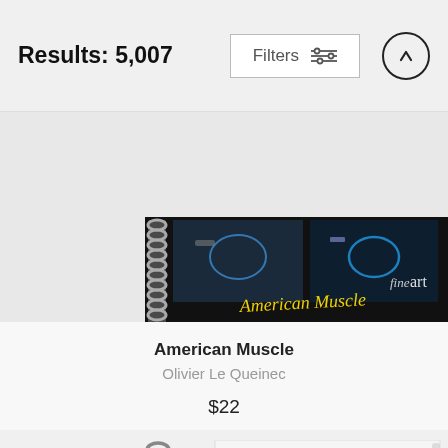Results: 5,007
[Figure (photo): A spiral-bound notebook with a black cover featuring car engine/American Muscle fine art photography. The cover shows 'American Muscle' in yellow script and 'fineart' in white text.]
American Muscle
Olivier Le Queinec
$22
[Figure (photo): A spiral-bound notebook with a white/blank cover, partially visible with spiral binding on the left side.]